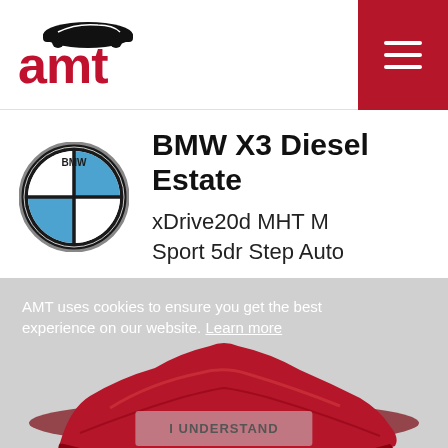[Figure (logo): AMT car dealership logo with stylized car silhouette above 'amt' text in red]
[Figure (logo): BMW circular logo with blue and white quadrants and black ring, BMW text]
BMW X3 Diesel Estate
xDrive20d MHT M Sport 5dr Step Auto
[Figure (photo): Car covered with a red cloth/drape on a grey background, cookie consent overlay visible]
AMT uses cookies to ensure you get the best experience on our website. Learn more
I UNDERSTAND